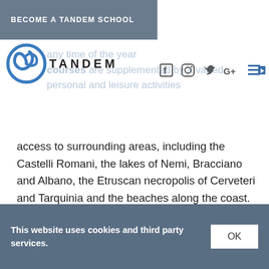BECOME A TANDEM SCHOOL
[Figure (logo): Tandem school logo with spiral graphic and TANDEM text]
[Figure (other): Social media icons: Facebook, Instagram, Twitter, Google+, YouTube]
access to surrounding areas, including the Castelli Romani, the lakes of Nemi, Bracciano and Albano, the Etruscan necropolis of Cerveteri and Tarquinia and the beaches along the coast.
Cultural Program
Living in Rome – even for a short time – is a unique experience, full of opportunities. Rome is a lively
This website uses cookies and third party services.